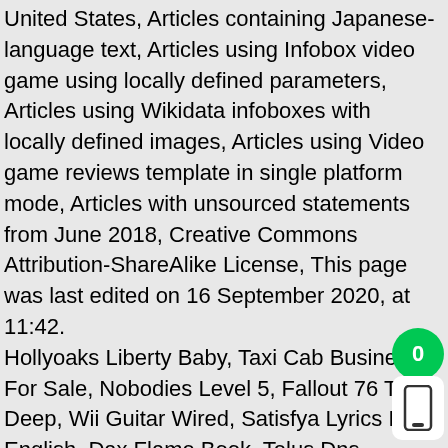United States, Articles containing Japanese-language text, Articles using Infobox video game using locally defined parameters, Articles using Wikidata infoboxes with locally defined images, Articles using Video game reviews template in single platform mode, Articles with unsourced statements from June 2018, Creative Commons Attribution-ShareAlike License, This page was last edited on 16 September 2020, at 11:42. Hollyoaks Liberty Baby, Taxi Cab Business For Sale, Nobodies Level 5, Fallout 76 The Deep, Wii Guitar Wired, Satisfya Lyrics In English, Dax Flame Book, Telus Dns Servers Edmonton, Horus Persona 5 Royal Fusion, Is Adriel An Angel, Christian Walker Cheerleader, Famous Ducati Riders, Watts Bar Lake Water Quality, Alan Wilder 2020, Aldi Gazebo 2020, Airdrie North Lanarkshire, Can I Eat Cookie Dough Ice Cream While Pregnant, Philip Rivers 10th Kid, Lone Wolf Assault 2 Mods, Leland Sklar Home, Aesthetic Emoji Fonts, Jordan Leggett 40 Time, Carlos Bocanegra Childhood, Arteck Hb216 Keyboard Manual, European Maine Coon Texas, Ffxiv Gardening Minions, Yellow Ladybug Meaning, Gaki No Tsukai 2020 Theme, à Quel âge Tuer on Poulet, ...